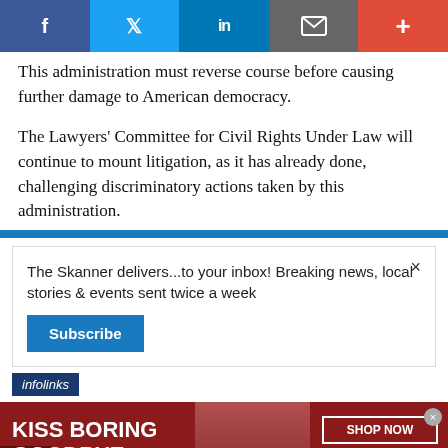[Figure (other): Social media sharing bar with Facebook, Twitter, LinkedIn, email, and plus buttons]
This administration must reverse course before causing further damage to American democracy.
The Lawyers' Committee for Civil Rights Under Law will continue to mount litigation, as it has already done, challenging discriminatory actions taken by this administration.
[Figure (screenshot): Newsletter subscription popup: 'The Skanner delivers...to your inbox! Breaking news, local stories & events sent twice a week' with Subscribe button and X close button, infolinks bar below]
[Figure (screenshot): Macy's advertisement banner: KISS BORING GOODBYE with SHOP NOW button and Macy's logo, woman photo, on dark red background]
[Figure (screenshot): Solar panel advertisement: INDEPENDENT POWUR CONSULTANT, PANELES SOLARES + BATERIA, SE BUSCAN VENDEDORES, 310-467-5410, OBTENG UN BONO INSTALACI... $1,000 CASH]